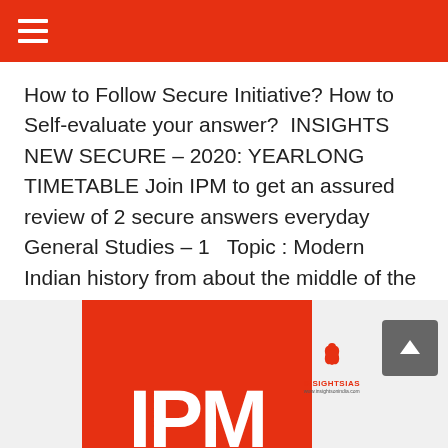≡ (navigation menu)
How to Follow Secure Initiative? How to Self-evaluate your answer?  INSIGHTS NEW SECURE – 2020: YEARLONG TIMETABLE Join IPM to get an assured review of 2 secure answers everyday  General Studies – 1   Topic : Modern Indian history from about the middle of the eighteenth century …
Continue reading
Page 1 of 2  1  2  »
[Figure (logo): IPM red block logo with INSIGHTSIAS branding and scroll-to-top button]